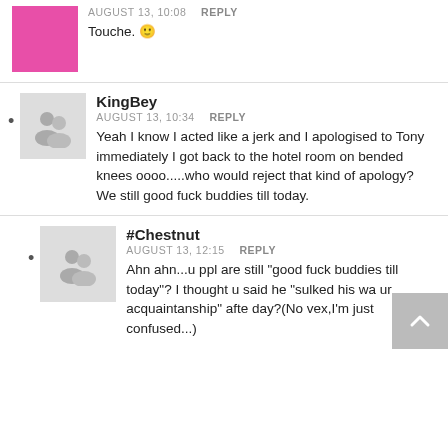AUGUST 13, 10:08   REPLY
Touche. 🙂
KingBey
AUGUST 13, 10:34   REPLY
Yeah I know I acted like a jerk and I apologised to Tony immediately I got back to the hotel room on bended knees oooo.....who would reject that kind of apology? We still good fuck buddies till today.
#Chestnut
AUGUST 13, 12:15   REPLY
Ahn ahn...u ppl are still "good fuck buddies till today"? I thought u said he "sulked his wa ur acquaintanship" afte day?(No vex,I'm just confused...)